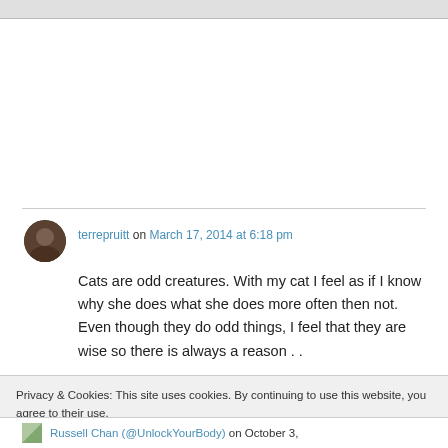[Figure (photo): Grey bar at top of page, partial screenshot of web page]
terrepruitt on March 17, 2014 at 6:18 pm
Cats are odd creatures. With my cat I feel as if I know why she does what she does more often then not. Even though they do odd things, I feel that they are wise so there is always a reason . .
Privacy & Cookies: This site uses cookies. By continuing to use this website, you agree to their use.
To find out more, including how to control cookies, see here: Cookie Policy
Close and accept
Russell Chan (@UnlockYourBody) on October 3,